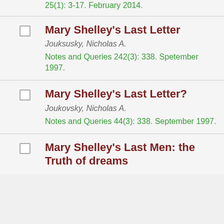25(1): 3-17. February 2014.
Mary Shelley's Last Letter — Jouksusky, Nicholas A. — Notes and Queries 242(3): 338. Spetember 1997.
Mary Shelley's Last Letter? — Joukovsky, Nicholas A. — Notes and Queries 44(3): 338. September 1997.
Mary Shelley's Last Men: the Truth of dreams